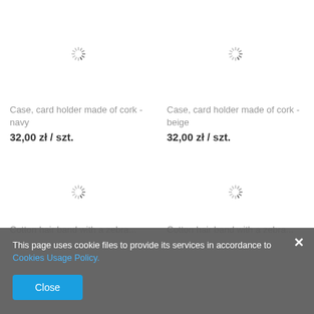[Figure (other): Loading spinner for product image placeholder - navy cork card holder]
Case, card holder made of cork - navy
32,00 zł / szt.
[Figure (other): Loading spinner for product image placeholder - beige cork card holder]
Case, card holder made of cork - beige
32,00 zł / szt.
[Figure (other): Loading spinner for product image placeholder - zebra cotton hair band]
[Figure (other): Loading spinner for product image placeholder - zebra cotton hair band]
Cotton hair band with a zebra...
Cotton hair band with a zebra...
This page uses cookie files to provide its services in accordance to Cookies Usage Policy.
Close